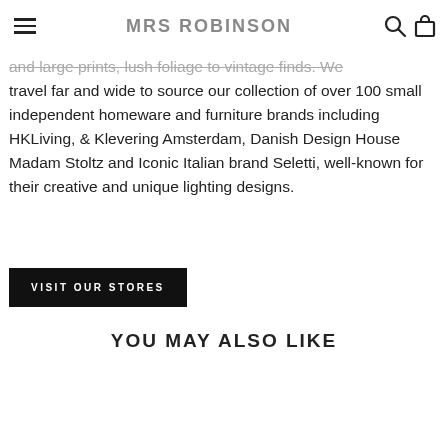MRS ROBINSON
and large prints, lush foliage to vintage finds. We travel far and wide to source our collection of over 100 small independent homeware and furniture brands including HKLiving, & Klevering Amsterdam, Danish Design House Madam Stoltz and Iconic Italian brand Seletti, well-known for their creative and unique lighting designs.
VISIT OUR STORES
YOU MAY ALSO LIKE